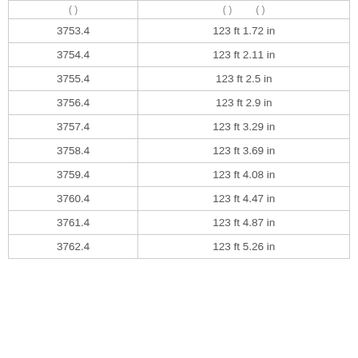| (...) | (...) | (...) |
| --- | --- | --- |
| 3753.4 | 123 ft 1.72 in |
| 3754.4 | 123 ft 2.11 in |
| 3755.4 | 123 ft 2.5 in |
| 3756.4 | 123 ft 2.9 in |
| 3757.4 | 123 ft 3.29 in |
| 3758.4 | 123 ft 3.69 in |
| 3759.4 | 123 ft 4.08 in |
| 3760.4 | 123 ft 4.47 in |
| 3761.4 | 123 ft 4.87 in |
| 3762.4 | 123 ft 5.26 in |